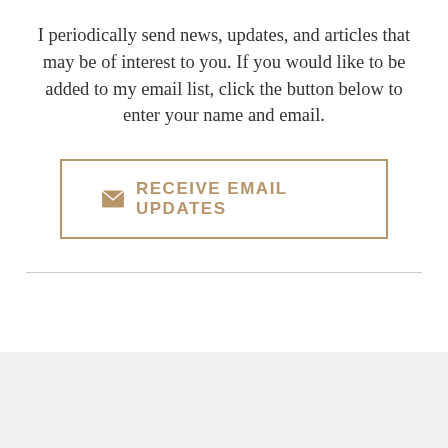I periodically send news, updates, and articles that may be of interest to you. If you would like to be added to my email list, click the button below to enter your name and email.
[Figure (other): Button with envelope icon and text 'RECEIVE EMAIL UPDATES', bordered in tan/gold color]